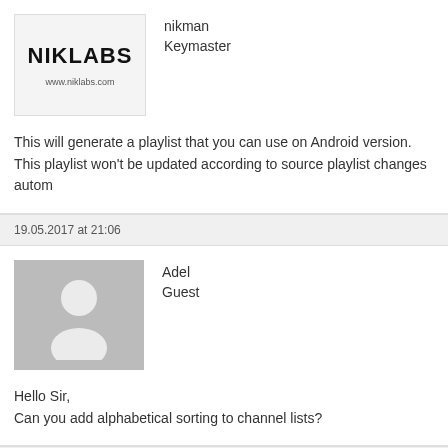[Figure (logo): NIKLABS logo with www.niklabs.com URL]
nikman
Keymaster
This will generate a playlist that you can use on Android version.
This playlist won't be updated according to source playlist changes autom
19.05.2017 at 21:06
[Figure (photo): Generic user avatar silhouette, gray background]
Adel
Guest
Hello Sir,
Can you add alphabetical sorting to channel lists?
03.01.2018 at 15:56
[Figure (photo): Generic user avatar silhouette, gray background]
corleone13000
Guest